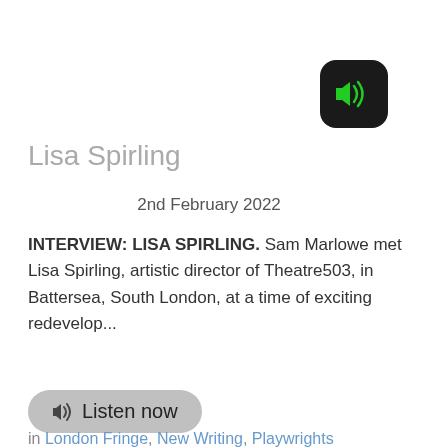[Figure (logo): Black rounded-square icon with a green speaker/volume symbol]
Lisa Spirling
2nd February 2022
INTERVIEW: LISA SPIRLING. Sam Marlowe met Lisa Spirling, artistic director of Theatre503, in Battersea, South London, at a time of exciting redevelop...
[Figure (other): Listen now button with speaker icon]
in London Fringe, New Writing, Playwrights